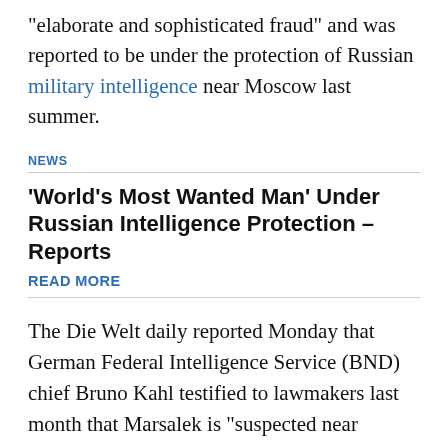“elaborate and sophisticated fraud” and was reported to be under the protection of Russian military intelligence near Moscow last summer.
NEWS
‘World’s Most Wanted Man’ Under Russian Intelligence Protection – Reports
READ MORE
The Die Welt daily reported Monday that German Federal Intelligence Service (BND) chief Bruno Kahl testified to lawmakers last month that Marsalek is “suspected near Moscow.”
Die Welt reported that BND had “credible information” in 2020 that Marsalek was at a